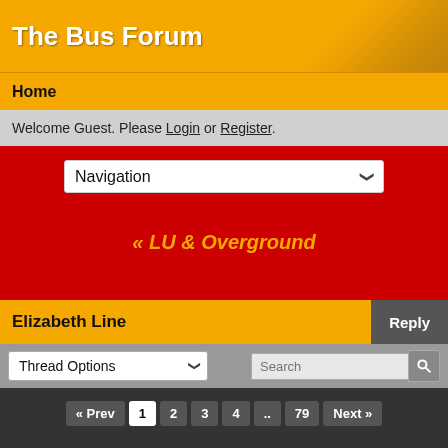The Bus Forum
Home
Welcome Guest. Please Login or Register.
[Figure (screenshot): Navigation dropdown selector in red background area]
« LU & Overground
Elizabeth Line
Thread Options — Search bar
« Prev 1 2 3 4 .. 79 Next »
snowman
Director
★★★★★
Dec 19, 2017 at 11:57am